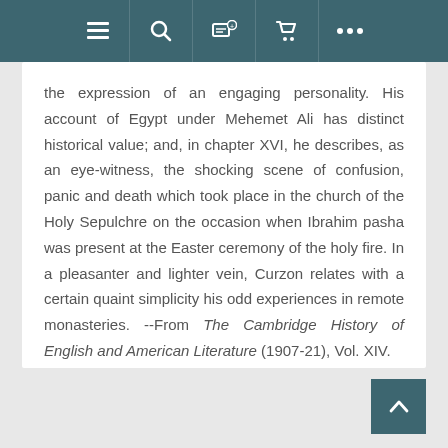[Navigation bar with menu, search, notifications, cart, and more icons]
the expression of an engaging personality. His account of Egypt under Mehemet Ali has distinct historical value; and, in chapter XVI, he describes, as an eye-witness, the shocking scene of confusion, panic and death which took place in the church of the Holy Sepulchre on the occasion when Ibrahim pasha was present at the Easter ceremony of the holy fire. In a pleasanter and lighter vein, Curzon relates with a certain quaint simplicity his odd experiences in remote monasteries. --From The Cambridge History of English and American Literature (1907-21), Vol. XIV.